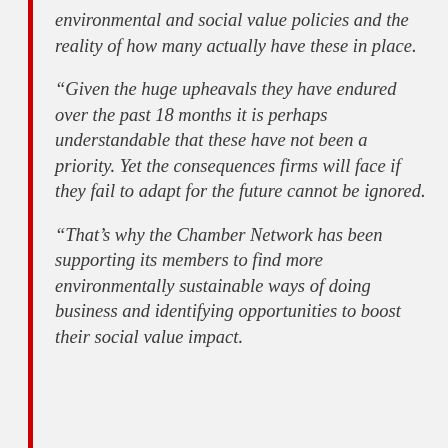environmental and social value policies and the reality of how many actually have these in place.
“Given the huge upheavals they have endured over the past 18 months it is perhaps understandable that these have not been a priority. Yet the consequences firms will face if they fail to adapt for the future cannot be ignored.
“That’s why the Chamber Network has been supporting its members to find more environmentally sustainable ways of doing business and identifying opportunities to boost their social value impact.